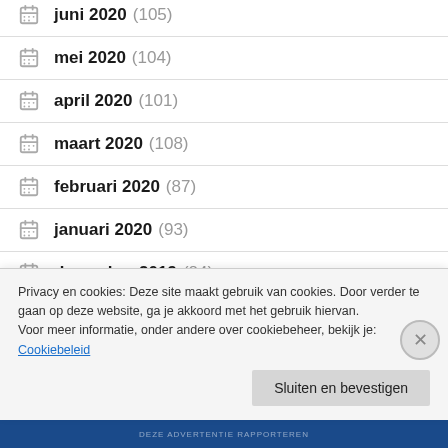juni 2020 (105)
mei 2020 (104)
april 2020 (101)
maart 2020 (108)
februari 2020 (87)
januari 2020 (93)
december 2019 (84)
Privacy en cookies: Deze site maakt gebruik van cookies. Door verder te gaan op deze website, ga je akkoord met het gebruik hiervan.
Voor meer informatie, onder andere over cookiebeheer, bekijk je:
Cookiebeleid
Sluiten en bevestigen